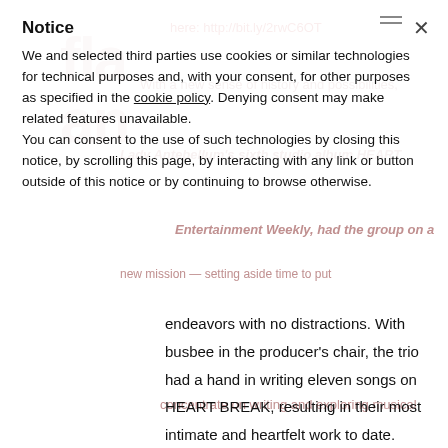Notice
We and selected third parties use cookies or similar technologies for technical purposes and, with your consent, for other purposes as specified in the cookie policy. Denying consent may make related features unavailable.
You can consent to the use of such technologies by closing this notice, by scrolling this page, by interacting with any link or button outside of this notice or by continuing to browse otherwise.
endeavors with no distractions. With busbee in the producer's chair, the trio had a hand in writing eleven songs on HEART BREAK, resulting in their most intimate and heartfelt work to date. HEART BREAK follows more than 18 million units, nine No. One hits, ACM and CMA “Vocal Group of the Year” trophies three years in a row, and countless other honors including Billboard Music Awards,